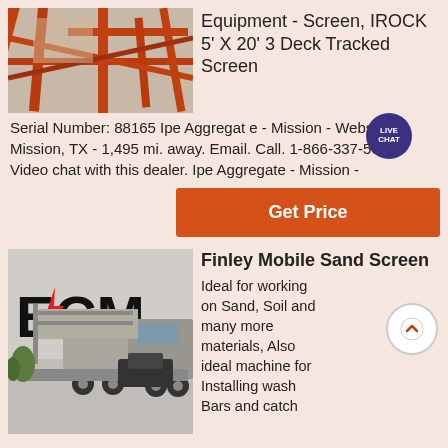[Figure (photo): Industrial equipment photo showing orange/red metal structure framework]
Equipment - Screen, IROCK 5' X 20' 3 Deck Tracked Screen
Serial Number: 88165 Ipe Aggregate - Mission - Website. Mission, TX - 1,495 mi. away. Email. Call. 1-866-337-5614. Video chat with this dealer. Ipe Aggregate - Mission -
Get Price
[Figure (photo): Photo of Finley Mobile Sand Screen mounted on a truck, with ECM logo visible on building in background]
Finley Mobile Sand Screen
Ideal for working on Sand, Soil and many more materials, Also ideal machine for Installing wash Bars and catch